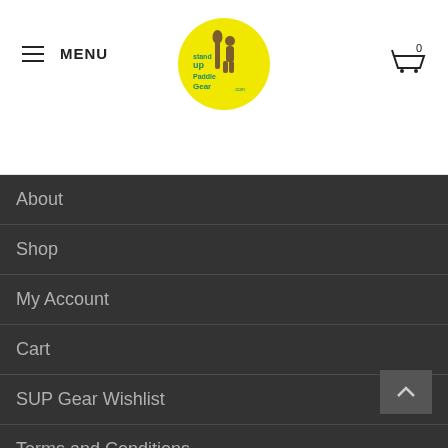MENU
[Figure (logo): Stand Up Paddle Gear logo — yellow circle with text and paddle icon]
About
Shop
My Account
Cart
SUP Gear Wishlist
Terms and Conditions